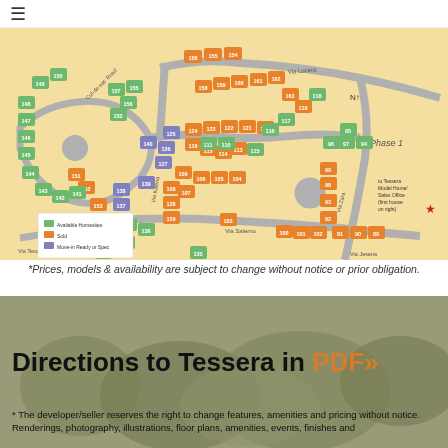≡
[Figure (map): Tessera community site map showing numbered lots (89-163+) color-coded as: green=Available Homesites, orange=Sold, purple=Move-in Ready or Spec. Roads labeled Via Tesoro, Via Lucera, Via Salerno, Via Kalena, and others. Phase 1 labeled on right side. Star marker indicating Tessera Model Home/Sales Office (first house on right).]
*Prices, models & availability are subject to change without notice or prior obligation.
Directions to Tessera in PDF»
* The developer/seller reserves the right to change features, amenities and pricing without notice. Renderings, photography, illustrations, floor plans, amenities, events, finishes and